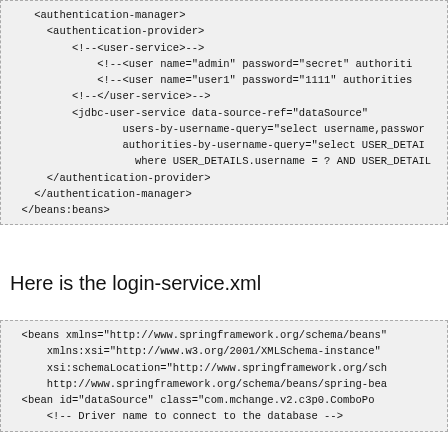<authentication-manager>
  <authentication-provider>
    <!--<user-service>-->
      <!--<user name="admin" password="secret" authoriti
      <!--<user name="user1" password="1111" authorities
    <!--</user-service>-->
    <jdbc-user-service data-source-ref="dataSource"
          users-by-username-query="select username,passwor
          authorities-by-username-query="select USER_DETAI
          where USER_DETAILS.username = ? AND USER_DETAIL
  </authentication-provider>
</authentication-manager>
</beans:beans>
Here is the login-service.xml
<beans xmlns="http://www.springframework.org/schema/beans"
    xmlns:xsi="http://www.w3.org/2001/XMLSchema-instance"
    xsi:schemaLocation="http://www.springframework.org/sch
    http://www.springframework.org/schema/beans/spring-bea
<bean id="dataSource" class="com.mchange.v2.c3p0.ComboPo
  <!-- Driver name to connect to the database -->